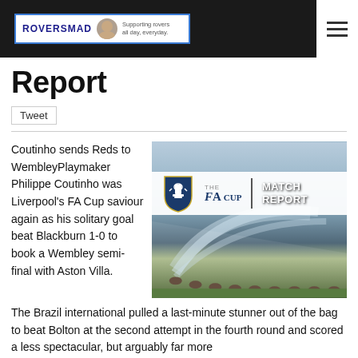ROVERSMAD — Supporting rovers all day, everyday.
Report
Tweet
Coutinho sends Reds to WembleyPlaymaker Philippe Coutinho was Liverpool's FA Cup saviour again as his solitary goal beat Blackburn 1-0 to book a Wembley semi-final with Aston Villa.The Brazil international pulled a last-minute stunner out of the bag to beat Bolton at the second attempt in the fourth round and scored a less spectacular, but arguably far more
[Figure (photo): FA Cup Match Report branded image showing sprinklers on a football pitch with the FA Cup logo and 'MATCH REPORT' text overlay]